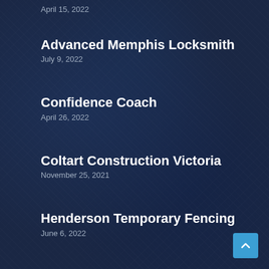April 15, 2022
Advanced Memphis Locksmith
July 9, 2022
Confidence Coach
April 26, 2022
Coltart Construction Victoria
November 25, 2021
Henderson Temporary Fencing
June 6, 2022
Sign Shop of Senoia
February 8, 2022